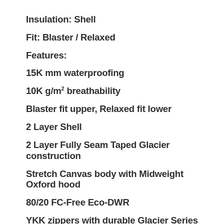Insulation: Shell
Fit: Blaster / Relaxed
Features:
15K mm waterproofing
10K g/m² breathability
Blaster fit upper, Relaxed fit lower
2 Layer Shell
2 Layer Fully Seam Taped Glacier construction
Stretch Canvas body with Midweight Oxford hood
80/20 FC-Free Eco-DWR
YKK zippers with durable Glacier Series zipper pulls on the pocket zippers